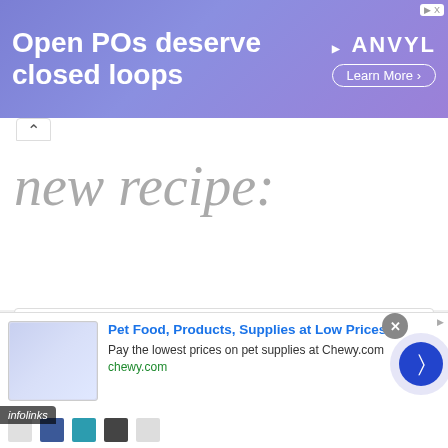[Figure (screenshot): Top banner advertisement for ANVYL: 'Open POs deserve closed loops' with Learn More button on purple/violet gradient background]
new recipe:
Inutak Recipe
[Figure (photo): Grid of food photos showing Inutak (sticky rice cake) with purple yam and golden coconut cream topping]
Post Views: 233,149 How to cook Inutak Recipe or Sticky Rice Cake layered with Coconut cream and Purple yam flavors.
[Figure (screenshot): Bottom advertisement for Chewy.com: 'Pet Food, Products, Supplies at Low Prices - Pay the lowest prices on pet supplies at Chewy.com']